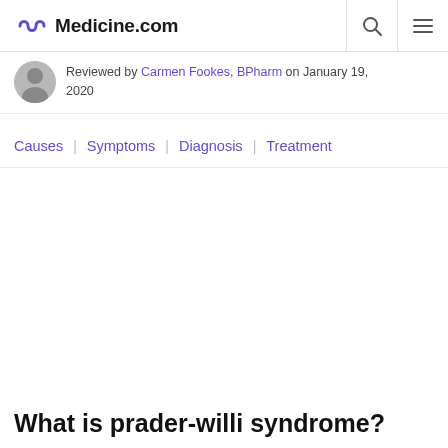Medicine.com
Reviewed by Carmen Fookes, BPharm on January 19, 2020
Causes | Symptoms | Diagnosis | Treatment
What is prader-willi syndrome?